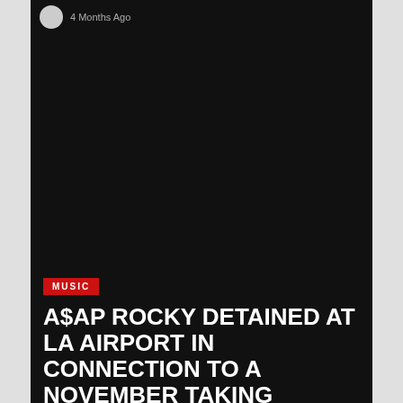4 Months Ago
[Figure (photo): Dark/black area representing an embedded video or image placeholder in a dark-themed social media or news feed card]
MUSIC
A$AP ROCKY DETAINED AT LA AIRPORT IN CONNECTION TO A NOVEMBER TAKING PICTURES